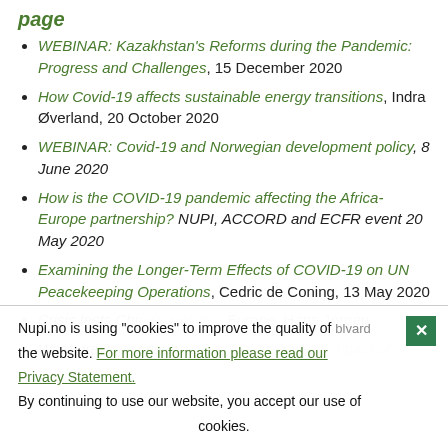page
WEBINAR: Kazakhstan's Reforms during the Pandemic: Progress and Challenges, 15 December 2020
How Covid-19 affects sustainable energy transitions, Indra Øverland, 20 October 2020
WEBINAR: Covid-19 and Norwegian development policy, 8 June 2020
How is the COVID-19 pandemic affecting the Africa-Europe partnership? NUPI, ACCORD and ECFR event 20 May 2020
Examining the Longer-Term Effects of COVID-19 on UN Peacekeeping Operations, Cedric de Coning, 13 May 2020
Crisis tests Chi... Europe, Hans Jørgen ...
What previous crise... about the likely impact of ...
Nupi.no is using "cookies" to improve the quality of the website. For more information please read our Privacy Statement. By continuing to use our website, you accept our use of cookies.